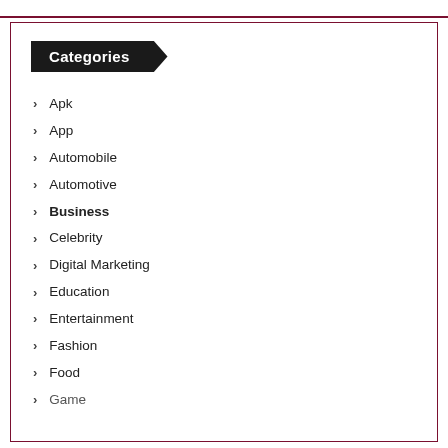Categories
Apk
App
Automobile
Automotive
Business
Celebrity
Digital Marketing
Education
Entertainment
Fashion
Food
Game